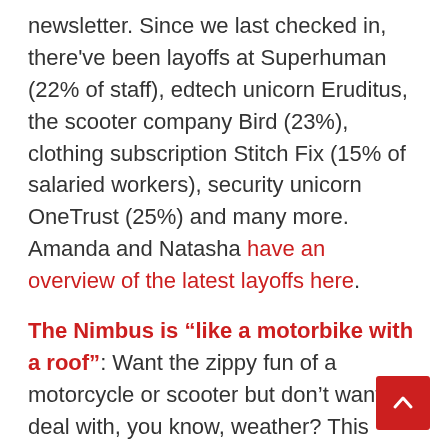newsletter. Since we last checked in, there've been layoffs at Superhuman (22% of staff), edtech unicorn Eruditus, the scooter company Bird (23%), clothing subscription Stitch Fix (15% of salaried workers), security unicorn OneTrust (25%) and many more. Amanda and Natasha have an overview of the latest layoffs here.
The Nimbus is “like a motorbike with a roof”: Want the zippy fun of a motorcycle or scooter but don’t want to deal with, you know, weather? This week Michigan-based startup Nimbus unveiled the prototype of “Nimbus One,” a three-wheeled EV that looks like a mix between a motorcycle and a Smart car. The company says that they’ll cost a bit shy of